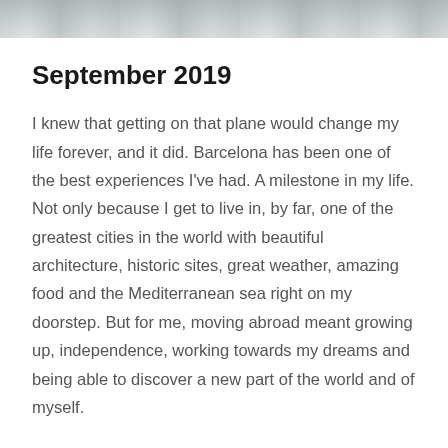[Figure (photo): A grayscale photo strip at the top of the page, appearing to show a textured outdoor or coastal scene.]
September 2019
I knew that getting on that plane would change my life forever, and it did. Barcelona has been one of the best experiences I've had. A milestone in my life. Not only because I get to live in, by far, one of the greatest cities in the world with beautiful architecture, historic sites, great weather, amazing food and the Mediterranean sea right on my doorstep. But for me, moving abroad meant growing up, independence, working towards my dreams and being able to discover a new part of the world and of myself.